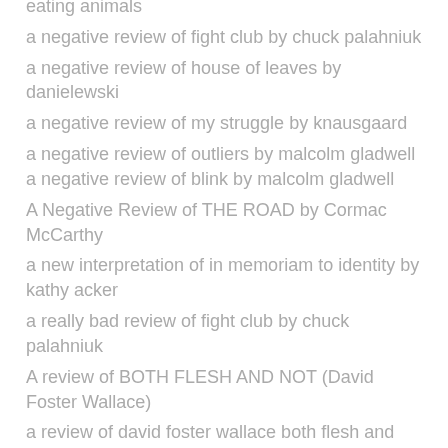eating animals
a negative review of fight club by chuck palahniuk
a negative review of house of leaves by danielewski
a negative review of my struggle by knausgaard
a negative review of outliers by malcolm gladwell a negative review of blink by malcolm gladwell
A Negative Review of THE ROAD by Cormac McCarthy
a new interpretation of in memoriam to identity by kathy acker
a really bad review of fight club by chuck palahniuk
A review of BOTH FLESH AND NOT (David Foster Wallace)
a review of david foster wallace both flesh and not
A review of even cowgirls get the blues by Tom Robbins
A review of Human all-too-human by Nietzsche
a review of MAO II by Don DeLillo
A review of Nietzsche's the gay science die Froehliche Wissenschaft thank you very much
a spy in the house of love anais nin
a spy in the house of love by nin